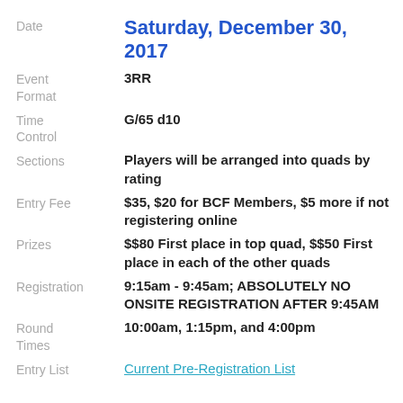Date: Saturday, December 30, 2017
Event Format: 3RR
Time Control: G/65 d10
Sections: Players will be arranged into quads by rating
Entry Fee: $35, $20 for BCF Members, $5 more if not registering online
Prizes: $$80 First place in top quad, $$50 First place in each of the other quads
Registration: 9:15am - 9:45am; ABSOLUTELY NO ONSITE REGISTRATION AFTER 9:45AM
Round Times: 10:00am, 1:15pm, and 4:00pm
Entry List: Current Pre-Registration List